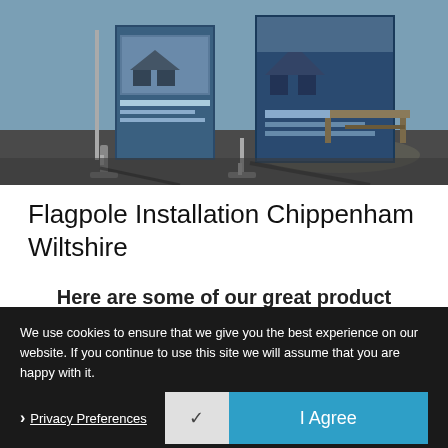[Figure (photo): Outdoor photo showing display banner stands/flagpoles with printed graphics, set up on a paved area with wooden picnic tables in the background under bright sunlight.]
Flagpole Installation Chippenham Wiltshire
Here are some of our great product styles...
[Figure (photo): Partial view of product style images — left image shows a blue-tinted flagpole/banner product photo; right image partially visible.]
We use cookies to ensure that we give you the best experience on our website. If you continue to use this site we will assume that you are happy with it.
Privacy Preferences   ✓   I Agree